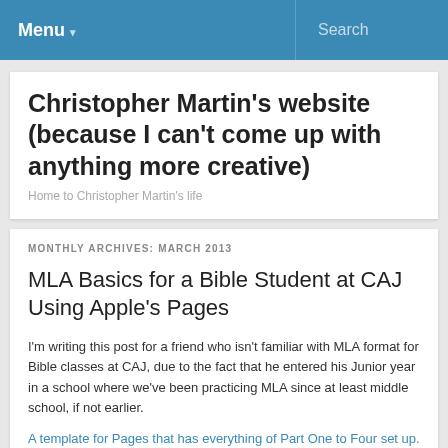Menu  Search
Christopher Martin's website (because I can't come up with anything more creative)
Home to Christopher Martin's life
MONTHLY ARCHIVES: MARCH 2013
MLA Basics for a Bible Student at CAJ Using Apple's Pages
I'm writing this post for a friend who isn't familiar with MLA format for Bible classes at CAJ, due to the fact that he entered his Junior year in a school where we've been practicing MLA since at least middle school, if not earlier.
A template for Pages that has everything of Part One to Four set up.